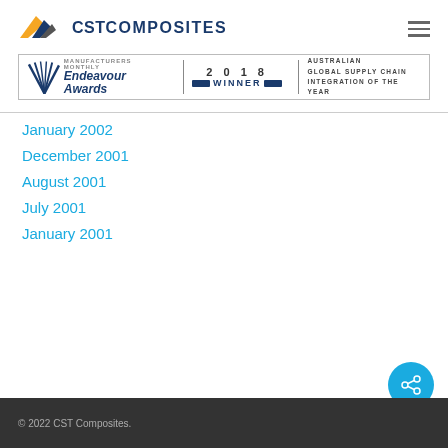CST Composites
[Figure (logo): Endeavour Awards 2018 Winner - Australian Global Supply Chain Integration of the Year]
January 2002
December 2001
August 2001
July 2001
January 2001
© 2022 CST Composites.